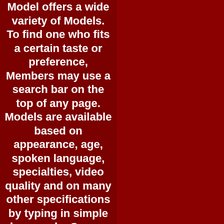Model offers a wide variety of Models. To find one who fits a certain taste or preference, Members may use a search bar on the top of any page. Models are available based on appearance, age, spoken language, specialties, video quality and on many other specifications by typing in simple key words. Once a Member